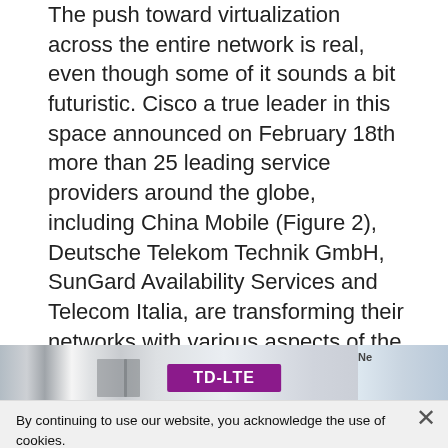The push toward virtualization across the entire network is real, even though some of it sounds a bit futuristic. Cisco a true leader in this space announced on February 18th more than 25 leading service providers around the globe, including China Mobile (Figure 2), Deutsche Telekom Technik GmbH, SunGard Availability Services and Telecom Italia, are transforming their networks with various aspects of the Cisco® Evolved Services Platform (ESP) to optimize network value, increase business agility and enable greater operational efficiencies.
[Figure (photo): Partial image showing a TD-LTE banner/label, appears to be a photo of networking equipment or a display at a trade show]
By continuing to use our website, you acknowledge the use of cookies.
Privacy Statement › Change Settings ›